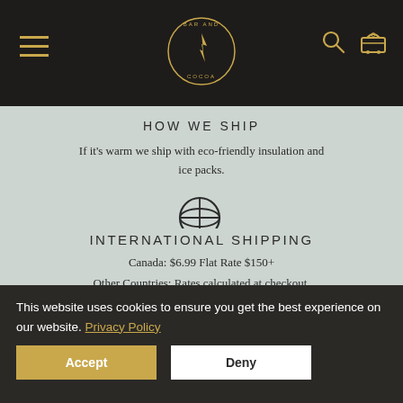Bar and Cocoa — navigation header with logo, hamburger menu, search and cart icons
HOW WE SHIP
If it's warm we ship with eco-friendly insulation and ice packs.
[Figure (illustration): Globe with airplane icon representing international shipping]
INTERNATIONAL SHIPPING
Canada: $6.99 Flat Rate $150+
Other Countries: Rates calculated at checkout.
This website uses cookies to ensure you get the best experience on our website. Privacy Policy
Accept
Deny